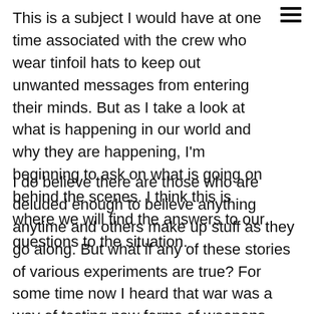This is a subject I would have at one time associated with the crew who wear tinfoil hats to keep out unwanted messages from entering their minds. But as I take a look at what is happening in our world and why they are happening, I'm beginning to ask on what is going on behind the scenes. I think this is where we will find the answers to our questions to the situation.
I do believe there are those who are deluded enough to believe anything anytime and others make up stuff as they go along. But what if any of these stories of various experiments are true? For some time now I heard that war was a way of testing new forms of weapons. Now I'm hearing reports of various chemicals and biological substances being tested on soldiers that bring on hallucinations and near total amnesia among other ailments. As if being in an active war zone isn't stressful enough but I wonder who